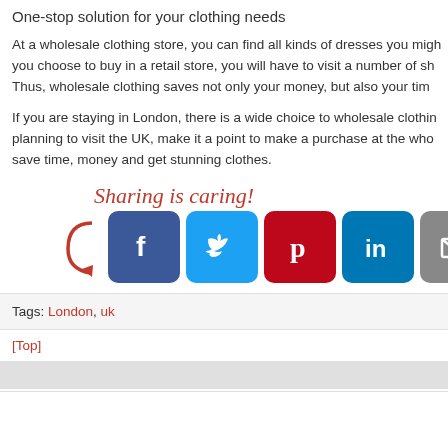One-stop solution for your clothing needs
At a wholesale clothing store, you can find all kinds of dresses you might... you choose to buy in a retail store, you will have to visit a number of sh... Thus, wholesale clothing saves not only your money, but also your tim...
If you are staying in London, there is a wide choice to wholesale clothin... planning to visit the UK, make it a point to make a purchase at the who... save time, money and get stunning clothes.
[Figure (infographic): Sharing is caring text with arrow and social media share buttons: Facebook, Twitter, Pinterest, LinkedIn, Email, More Options]
Tags: London, uk
[Top]